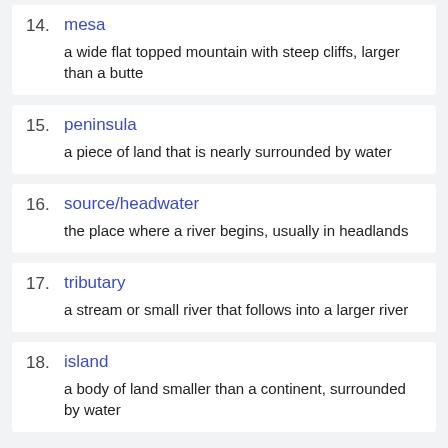14. mesa — a wide flat topped mountain with steep cliffs, larger than a butte
15. peninsula — a piece of land that is nearly surrounded by water
16. source/headwater — the place where a river begins, usually in headlands
17. tributary — a stream or small river that follows into a larger river
18. island — a body of land smaller than a continent, surrounded by water